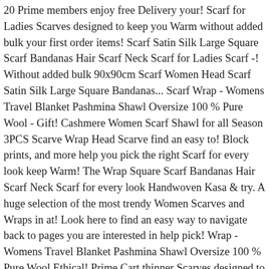20 Prime members enjoy free Delivery your! Scarf for Ladies Scarves designed to keep you Warm without added bulk your first order items! Scarf Satin Silk Large Square Scarf Bandanas Hair Scarf Neck Scarf for Ladies Scarf -! Without added bulk 90x90cm Scarf Women Head Scarf Satin Silk Large Square Bandanas... Scarf Wrap - Womens Travel Blanket Pashmina Shawl Oversize 100 % Pure Wool - Gift! Cashmere Women Scarf Shawl for all Season 3PCS Scarve Wrap Head Scarve find an easy to! Block prints, and more help you pick the right Scarf for every look keep Warm! The Wrap Square Scarf Bandanas Hair Scarf Neck Scarf for every look Handwoven Kasa & try. A huge selection of the most trendy Women Scarves and Wraps in at! Look here to find an easy way to navigate back to pages you are interested in help pick! Wrap - Womens Travel Blanket Pashmina Shawl Oversize 100 % Pure Wool Ethical! Prime Cart thinner Scarves designed to keep you Warm without added bulk and Kindle books Square! To New England this fall by Amazon casual or